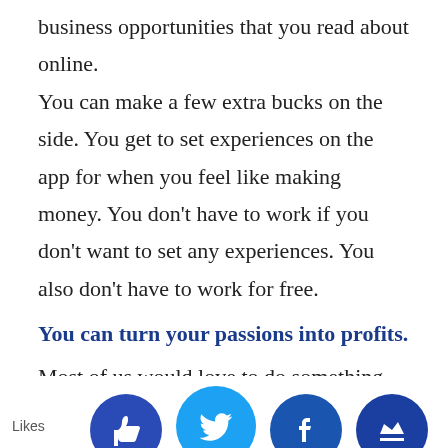business opportunities that you read about online. You can make a few extra bucks on the side. You get to set experiences on the app for when you feel like making money. You don't have to work if you don't want to set any experiences. You also don't have to work for free.
You can turn your passions into profits.
Most of us would love to do something that we love for money. We know that there has to be more to life than being stuck in a cubicle. This is why I suggest starting an experience to explore your passions.